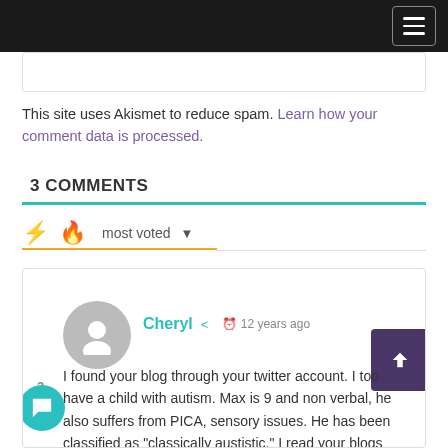Navigation bar with hamburger menu
This site uses Akismet to reduce spam. Learn how your comment data is processed.
3 COMMENTS
most voted
Cheryl · 12 years ago
I found your blog through your twitter account. I too have a child with autism. Max is 9 and non verbal, he also suffers from PICA, sensory issues. He has been classified as "classically austistic." I read your blogs with so much interest because I can identify with